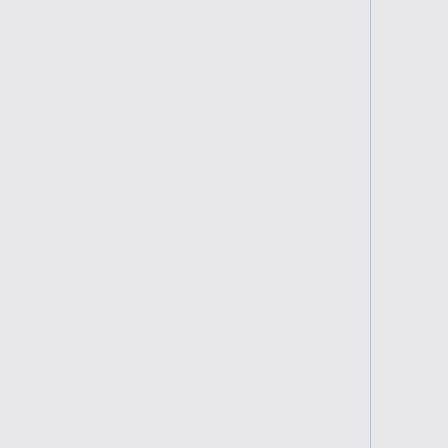US;308538 Dr. Watson] and [http://msdn.microsoft.com/en-us/windows/hardware/gg463016 windbg.exe] from Microsoft.
Some hints for how this could work can be found [http://www.cruisersforum.com/forums/f134/opencp